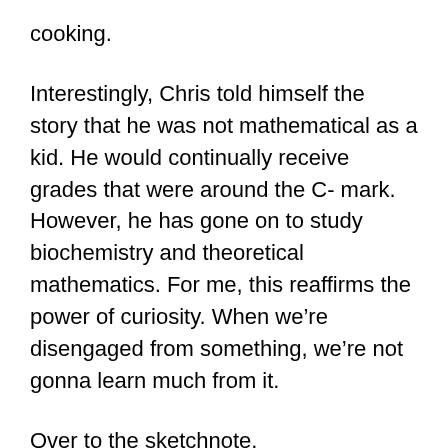cooking.
Interestingly, Chris told himself the story that he was not mathematical as a kid. He would continually receive grades that were around the C- mark. However, he has gone on to study biochemistry and theoretical mathematics. For me, this reaffirms the power of curiosity. When we’re disengaged from something, we’re not gonna learn much from it.
Over to the sketchnote.